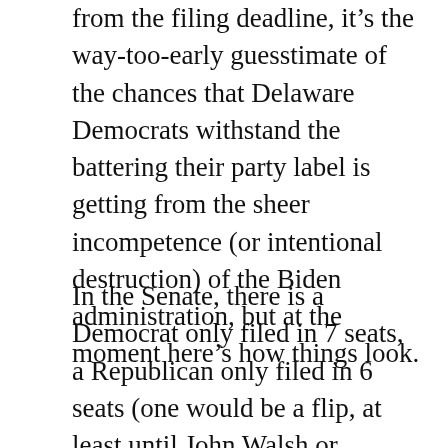from the filing deadline, it's the way-too-early guesstimate of the chances that Delaware Democrats withstand the battering their party label is getting from the sheer incompetence (or intentional destruction) of the Biden administration, but at the moment here's how things look.
In the Senate, there is a Democrat only filed in 7 seats, a Republican only filed in 6 seats (one would be a flip, at least until John Walsh or another Democrat files) and 8 seats up in the air as both a Democrat and Republican have filed. At this second, it is possible that the Republicans could get the majority but more likely they could cut into their 14-7 deficit. A